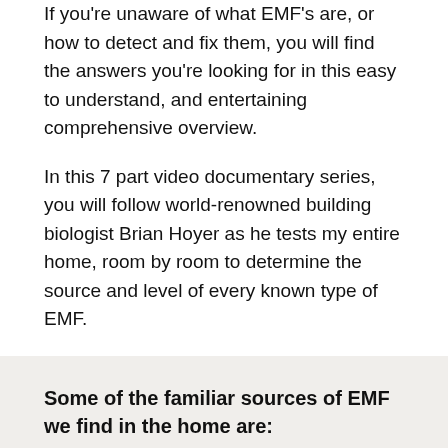If you're unaware of what EMF's are, or how to detect and fix them, you will find the answers you're looking for in this easy to understand, and entertaining comprehensive overview.
In this 7 part video documentary series, you will follow world-renowned building biologist Brian Hoyer as he tests my entire home, room by room to determine the source and level of every known type of EMF.
Some of the familiar sources of EMF we find in the home are:
Nearby cell towers